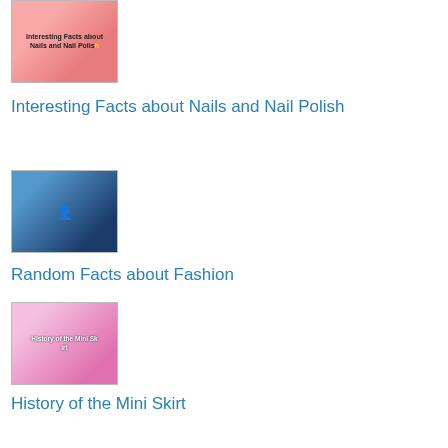[Figure (photo): Thumbnail image for Interesting Facts about Nails and Nail Polish article]
Interesting Facts about Nails and Nail Polish
[Figure (photo): Thumbnail image for Random Facts about Fashion article, showing a figure in blue-lit setting]
Random Facts about Fashion
[Figure (photo): Thumbnail image for History of the Mini Skirt article, showing group of women]
History of the Mini Skirt
Interesting Facts about the Iconic 1980s Fashion Scene
Interesting Facts about the Iconic 1960s Fashion Scene